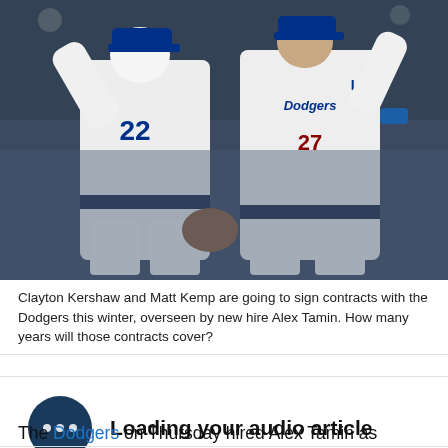[Figure (photo): Two Los Angeles Dodgers baseball players in white uniforms celebrating, one wearing number 22 (Clayton Kershaw) and the other number 27 (Matt Kemp), high-fiving or chest-bumping at night in a stadium.]
Clayton Kershaw and Matt Kemp are going to sign contracts with the Dodgers this winter, overseen by new hire Alex Tamin. How many years will those contracts cover?
Loading your audio article
The Dodgers on Thursday hired Alex Tamin as Director of Baseball Contracts, Research, and